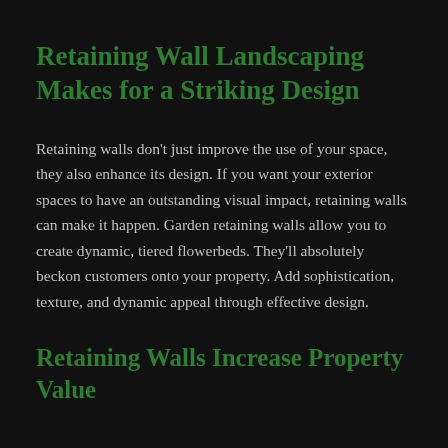Retaining Wall Landscaping Makes for a Striking Design
Retaining walls don't just improve the use of your space, they also enhance its design. If you want your exterior spaces to have an outstanding visual impact, retaining walls can make it happen. Garden retaining walls allow you to create dynamic, tiered flowerbeds. They'll absolutely beckon customers onto your property. Add sophistication, texture, and dynamic appeal through effective design.
Retaining Walls Increase Property Value